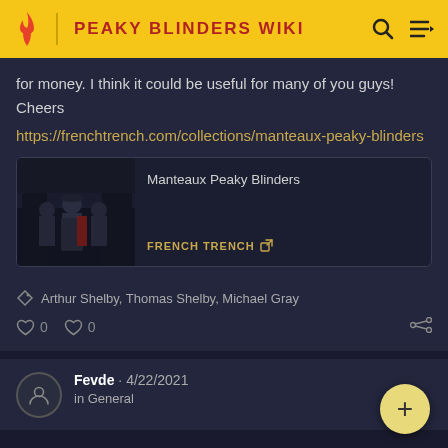PEAKY BLINDERS WIKI
for money. I think it could be useful for many of you guys! Cheers
https://frenchtrench.com/collections/manteaux-peaky-blinders
[Figure (screenshot): Link preview card: image of Peaky Blinders characters with title 'Manteaux Peaky Blinders' and 'FRENCH TRENCH' site label]
Arthur Shelby, Thomas Shelby, Michael Gray
0  0
Fevde · 4/22/2021
in General